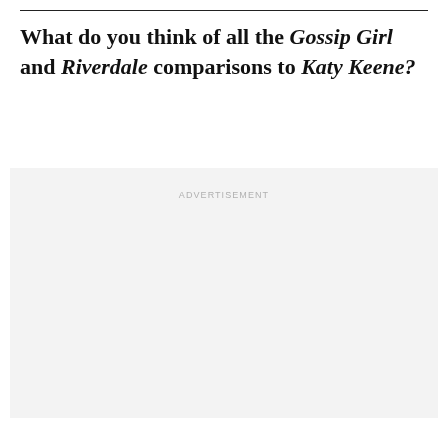What do you think of all the Gossip Girl and Riverdale comparisons to Katy Keene?
[Figure (other): Advertisement placeholder block with light grey background and 'ADVERTISEMENT' label text centered at the top.]